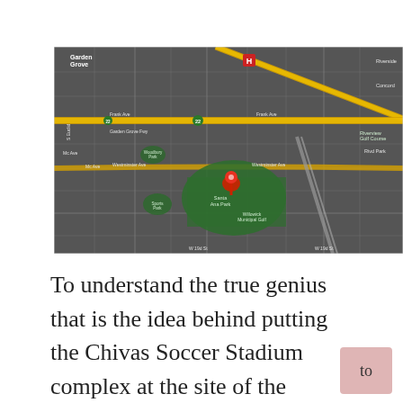[Figure (map): Google satellite map showing Garden Grove area with streets, a red location pin marking the Willowick Golf Course / Chivas Soccer Stadium site, and surrounding neighborhoods. Yellow highway lines visible crossing the map diagonally and horizontally.]
To understand the true genius that is the idea behind putting the Chivas Soccer Stadium complex at the site of the Willowick Golf Course, you have to look at the Google satellite map of